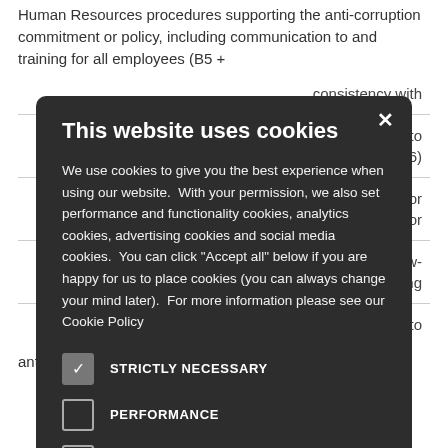Human Resources procedures supporting the anti-corruption commitment or policy, including communication to and training for all employees (B5 +
consistency with
artners to s (D6)
tability for ommitment or
anels and follow- or seeking
ures related to anticorruption (D10)
[Figure (screenshot): Cookie consent modal dialog on dark background. Title: 'This website uses cookies'. Body text about cookie usage with permission. Five cookie category options: STRICTLY NECESSARY (checked), PERFORMANCE (unchecked), ANALYTICS (unchecked), FUNCTIONALITY (unchecked), SOCIAL MEDIA (unchecked). Close X button top right.]